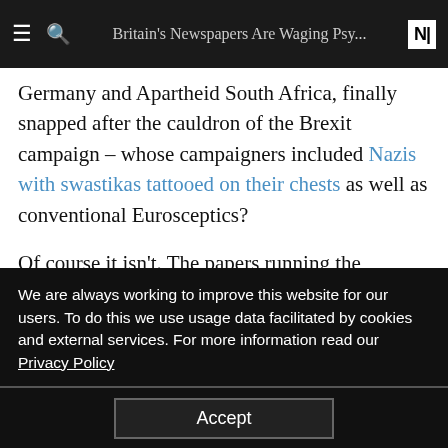Britain's Newspapers Are Waging Psy...
Germany and Apartheid South Africa, finally snapped after the cauldron of the Brexit campaign – whose campaigners included Nazis with swastikas tattooed on their chests as well as conventional Eurosceptics?
Of course it isn't. The papers running the Sarkocy story know it isn't, as do the more 'enlightened' journalists and politicians now imitating their degenerate nonsense. I have no doubt that when Ben Bradley lied about the Labour leader 'selling secrets' to communist spies in the 1980s, he didn't think it was true. Or rather he didn't care. Subjected to a
We are always working to improve this website for our users. To do this we use usage data facilitated by cookies and external services. For more information read our Privacy Policy
Accept